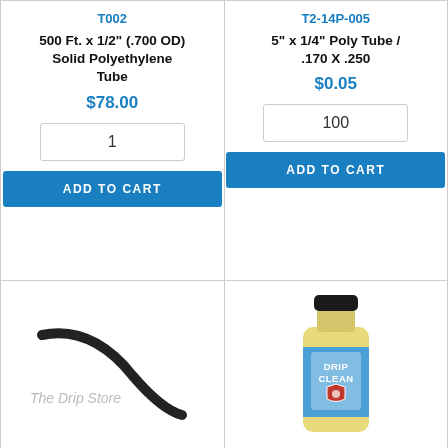T002
500 Ft. x 1/2" (.700 OD) Solid Polyethylene Tube
$78.00
1
ADD TO CART
T2-14P-005
5" x 1/4" Poly Tube / .170 X .250
$0.05
100
ADD TO CART
[Figure (photo): A curved black polyethylene tube with The Drip Store watermark text]
[Figure (photo): A bottle of Drip Clean liquid fertilizer supplement with blue label and yellow liquid]